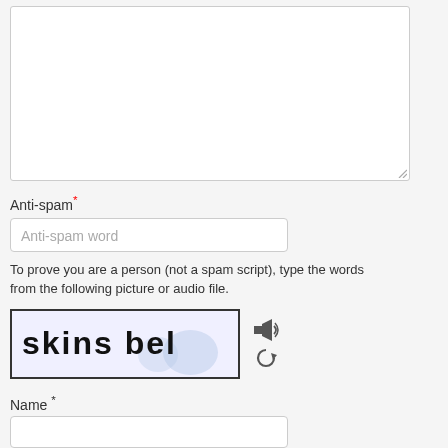[Figure (other): Large empty textarea input field with resize handle at bottom-right]
Anti-spam*
[Figure (other): Text input field with placeholder 'Anti-spam word']
To prove you are a person (not a spam script), type the words from the following picture or audio file.
[Figure (other): CAPTCHA image showing handwritten text 'skins bel' with decorative circles in the background, accompanied by audio and refresh icons]
Name *
[Figure (other): Empty text input field for Name]